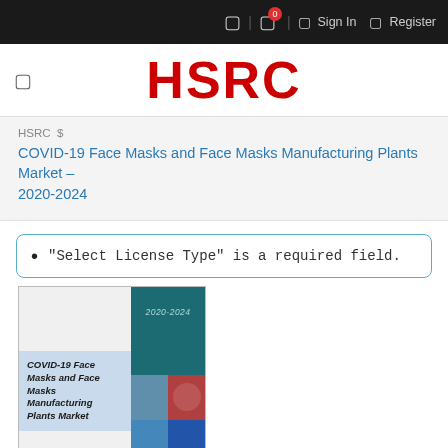Sign In  Register
HSRC
HSRC  $
COVID-19 Face Masks and Face Masks Manufacturing Plants Market – 2020-2024
"Select License Type" is a required field.
[Figure (illustration): Book cover for COVID-19 Face Masks and Face Masks Manufacturing Plants Market 2020-2024 report, teal spine with year label and photo grid, light blue title band on cover]